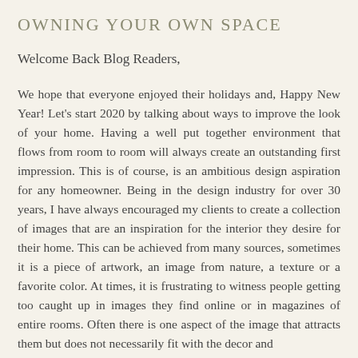OWNING YOUR OWN SPACE
Welcome Back Blog Readers,
We hope that everyone enjoyed their holidays and, Happy New Year!  Let's start 2020 by talking about ways to improve the look of your home.  Having a well put together environment that flows from room to room will always create an outstanding first impression. This is of course, is an ambitious design aspiration for any homeowner.  Being in the design industry for over 30 years, I have always encouraged my clients to create a collection of images that are an inspiration for the interior they desire for their home.  This can be achieved from many sources, sometimes it is a piece of artwork, an image from nature, a texture or a favorite color.  At times, it is frustrating to witness people getting too caught up in images they find online or in magazines of entire rooms. Often there is one aspect of the image that attracts them but does not necessarily fit with the decor and